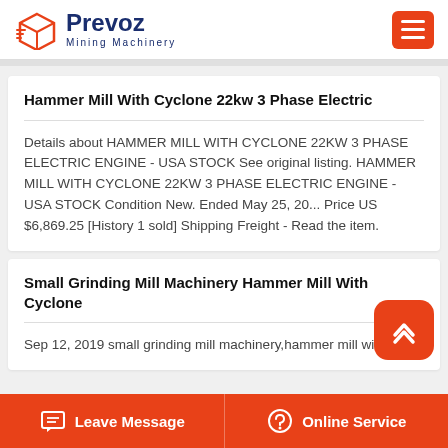Prevoz Mining Machinery
Hammer Mill With Cyclone 22kw 3 Phase Electric
Details about HAMMER MILL WITH CYCLONE 22KW 3 PHASE ELECTRIC ENGINE - USA STOCK See original listing. HAMMER MILL WITH CYCLONE 22KW 3 PHASE ELECTRIC ENGINE - USA STOCK Condition New. Ended May 25, 20... Price US $6,869.25 [History 1 sold] Shipping Freight - Read the item.
Small Grinding Mill Machinery Hammer Mill With Cyclone
Sep 12, 2019 small grinding mill machinery,hammer mill with
Leave Message | Online Service